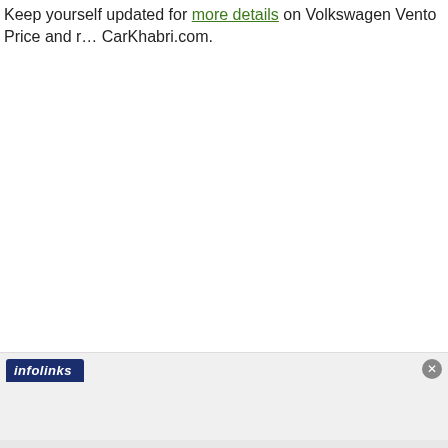Keep yourself updated for more details on Volkswagen Vento Price and r… CarKhabri.com.
[Figure (infographic): Infolinks advertisement banner showing beauty/makeup imagery: lips with brush, beauty brush, eye makeup, ULTA Beauty logo, smoky eye, and SHOP NOW call to action panel with close button]